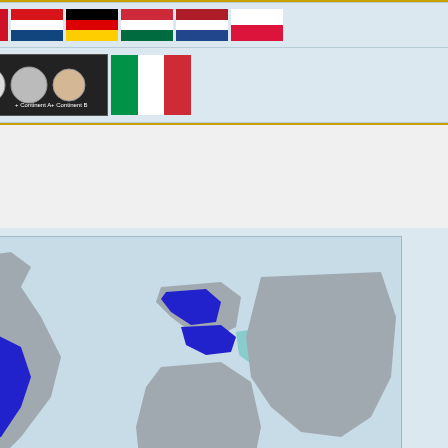|  | Flags |
| --- | --- |
| Short trip: | (Romania, Czech Republic, Germany flags) (Hungary, Netherlands, Poland flags) |
| When possible: | (circles/dots image) (Italy flag variant) |
[Figure (map): World map showing travel destinations: dark blue for Long term countries (USA, parts of Europe/Middle East), light blue/teal for Short term countries. Legend shows 'Long term' and 'Sh[ort term]'.]
Это глобальная ст[раница...]
Если вы видите её на другом сайте, не вход[ящем в проект Викимедиа, то вы находитесь на] сайте-зеркале. Данная страница может быть [устаревшей, а её авторы не имеют] никакого отношения к отличным от проект[а Викимедиа сайтам.]
https://meta.wikimedia.org/wiki/User%E2%80%...